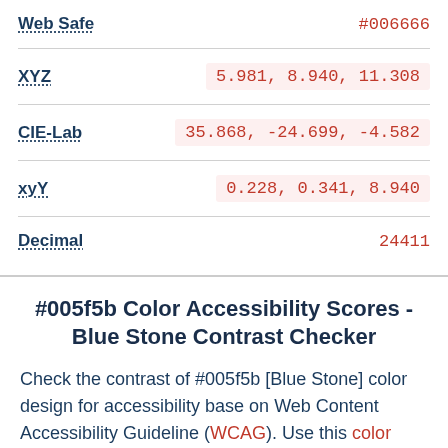| Label | Value |
| --- | --- |
| Web Safe | #006666 |
| XYZ | 5.981, 8.940, 11.308 |
| CIE-Lab | 35.868, -24.699, -4.582 |
| xyY | 0.228, 0.341, 8.940 |
| Decimal | 24411 |
#005f5b Color Accessibility Scores - Blue Stone Contrast Checker
Check the contrast of #005f5b [Blue Stone] color design for accessibility base on Web Content Accessibility Guideline (WCAG). Use this color